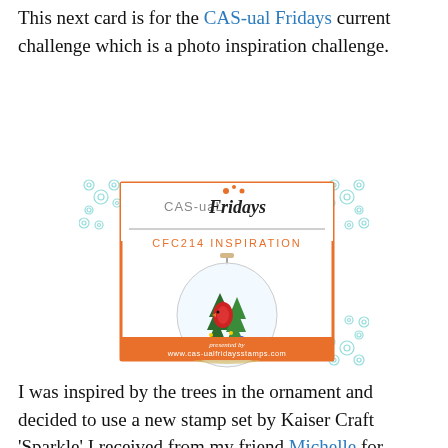This next card is for the CAS-ual Fridays current challenge which is a photo inspiration challenge.
[Figure (logo): CAS-ual Fridays CFC214 Inspiration badge showing a Christmas ornament globe containing miniature trees and a red cardinal bird, with teal floral decorations in corners. Orange border and footer with www.cas-ualfridaysstamps.com]
I was inspired by the trees in the ornament and decided to use a new stamp set by Kaiser Craft 'Sparkle' I received from my friend Michelle for